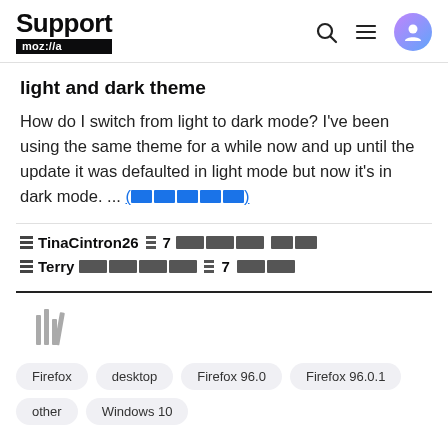Support mozilla// [search] [menu] [avatar]
light and dark theme
How do I switch from light to dark mode? I've been using the same theme for a while now and up until the update it was defaulted in light mode but now it's in dark mode. ... (more)
TinaCintron26 [redacted] 7 [redacted] [redacted]
Terry [redacted] [redacted] 7 [redacted]
[Figure (illustration): Library/bookmark icon made of vertical bars]
Firefox   desktop   Firefox 96.0   Firefox 96.0.1   other   Windows 10